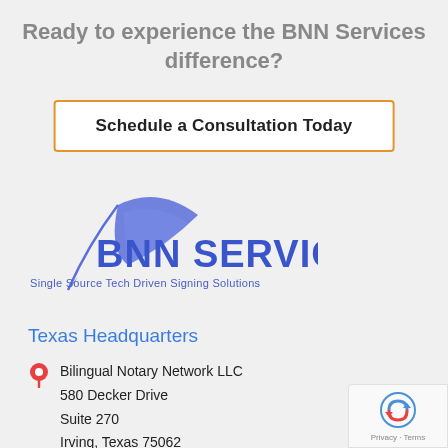Ready to experience the BNN Services difference?
Schedule a Consultation Today
[Figure (logo): BNN Services logo with feather quill pen icon and text 'BNN SERVICES' in blue, tagline 'Single Source Tech Driven Signing Solutions']
Texas Headquarters
Bilingual Notary Network LLC
580 Decker Drive
Suite 270
Irving, Texas 75062